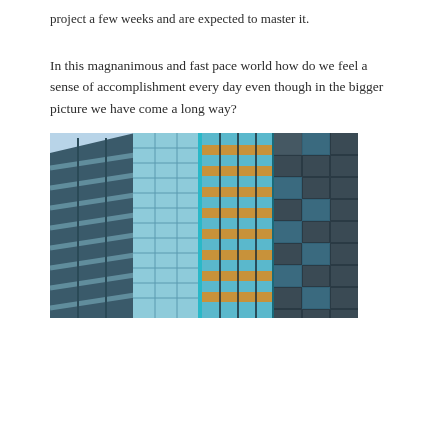project a few weeks and are expected to master it.
In this magnanimous and fast pace world how do we feel a sense of accomplishment every day even though in the bigger picture we have come a long way?
[Figure (photo): Photograph of modern glass skyscrapers viewed from below at an angle, showing blue glass facades with geometric grid patterns, some panels with golden/brown tones mixed with blue and dark panels.]